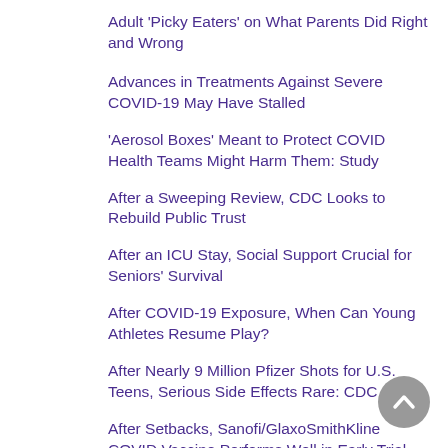Adult 'Picky Eaters' on What Parents Did Right and Wrong
Advances in Treatments Against Severe COVID-19 May Have Stalled
'Aerosol Boxes' Meant to Protect COVID Health Teams Might Harm Them: Study
After a Sweeping Review, CDC Looks to Rebuild Public Trust
After an ICU Stay, Social Support Crucial for Seniors' Survival
After COVID-19 Exposure, When Can Young Athletes Resume Play?
After Nearly 9 Million Pfizer Shots for U.S. Teens, Serious Side Effects Rare: CDC
After Setbacks, Sanofi/GlaxoSmithKline COVID Vaccine Performs Well in Early Trial
After Testing Fell During Pandemic, Is a Surge in STDs Ahead?
Age Big Factor in COVID Vaccine Views